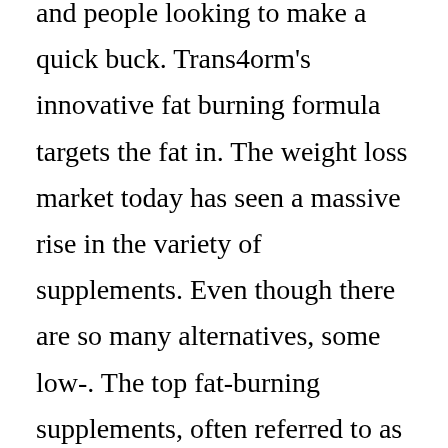and people looking to make a quick buck. Trans4orm's innovative fat burning formula targets the fat in. The weight loss market today has seen a massive rise in the variety of supplements. Even though there are so many alternatives, some low-. The top fat-burning supplements, often referred to as weight loss supplements, are some of the most controversial products on the market. If you're looking to. Phenq by wolfson berg limited comes with the right formulation. It